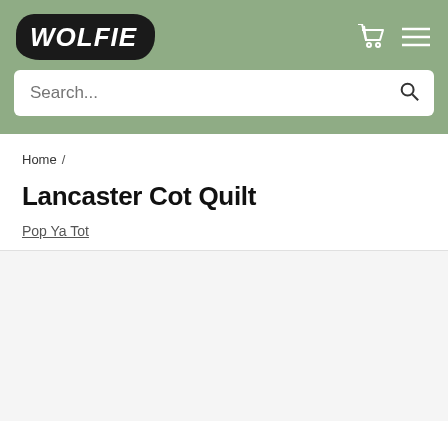[Figure (logo): Wolfie logo — white hand-lettered text on black irregular blob shape]
Search...
Home /
Lancaster Cot Quilt
Pop Ya Tot
[Figure (photo): Product image area (white/light grey background, product not visible)]